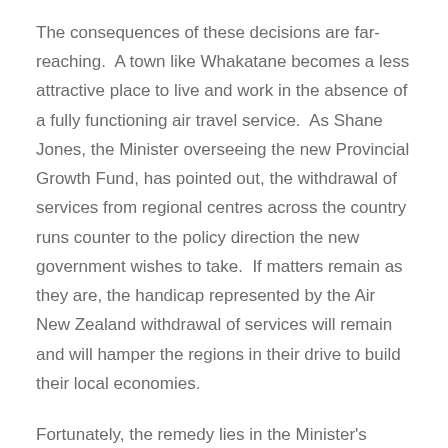The consequences of these decisions are far-reaching. A town like Whakatane becomes a less attractive place to live and work in the absence of a fully functioning air travel service. As Shane Jones, the Minister overseeing the new Provincial Growth Fund, has pointed out, the withdrawal of services from regional centres across the country runs counter to the policy direction the new government wishes to take. If matters remain as they are, the handicap represented by the Air New Zealand withdrawal of services will remain and will hamper the regions in their drive to build their local economies.
Fortunately, the remedy lies in the Minister's hands. He can, as the representative of Air New Zealand's principal shareholder, make it clear that a bumper profit is not the only criterion of success that the government wishes to see. He can instruct that the airline must pay more attention to other